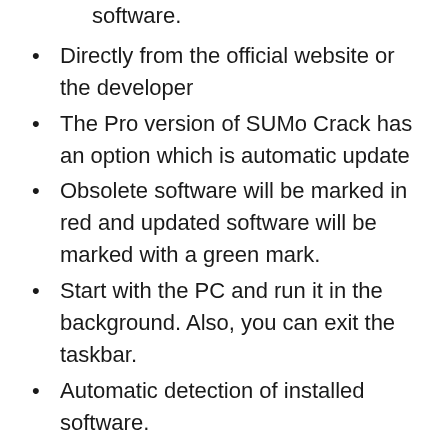software.
Directly from the official website or the developer
The Pro version of SUMo Crack has an option which is automatic update
Obsolete software will be marked in red and updated software will be marked with a green mark.
Start with the PC and run it in the background. Also, you can exit the taskbar.
Automatic detection of installed software.
Detects necessary updates/patches for your software.
Filter / allow beta versions (user settings).
Skip the list: follow only the software YOU want to follow.